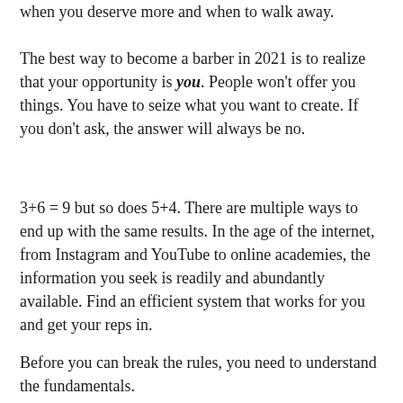when you deserve more and when to walk away.
The best way to become a barber in 2021 is to realize that your opportunity is you. People won't offer you things. You have to seize what you want to create. If you don't ask, the answer will always be no.
3+6 = 9 but so does 5+4. There are multiple ways to end up with the same results. In the age of the internet, from Instagram and YouTube to online academies, the information you seek is readily and abundantly available. Find an efficient system that works for you and get your reps in.
Before you can break the rules, you need to understand the fundamentals.